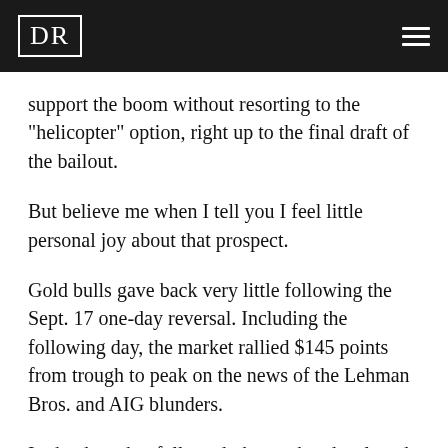DR
support the boom without resorting to the "helicopter" option, right up to the final draft of the bailout.
But believe me when I tell you I feel little personal joy about that prospect.
Gold bulls gave back very little following the Sept. 17 one-day reversal. Including the following day, the market rallied $145 points from trough to peak on the news of the Lehman Bros. and AIG blunders.
In the days that followed, the market developed a bullish formation that technicians refer to as an ascending triangle – a pattern of higher lows closing in